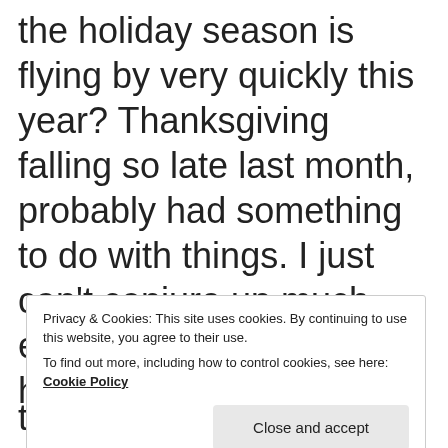the holiday season is flying by very quickly this year? Thanksgiving falling so late last month, probably had something to do with things. I just can't conjure up much enthusiasm for any holiday decorating
Privacy & Cookies: This site uses cookies. By continuing to use this website, you agree to their use.
To find out more, including how to control cookies, see here: Cookie Policy
trunks from the crawl